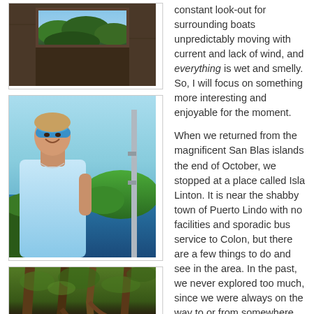[Figure (photo): Photo of a window looking out to dense green tropical forest/jungle]
[Figure (photo): A smiling woman wearing blue goggles on her head in a light blue tank top, posing near a metal pole with a view of a green island and deep blue sea in the background]
[Figure (photo): Close-up photo of tangled mangrove roots in a dark, dense tropical setting]
constant look-out for surrounding boats unpredictably moving with current and lack of wind, and everything is wet and smelly. So, I will focus on something more interesting and enjoyable for the moment.

When we returned from the magnificent San Blas islands the end of October, we stopped at a place called Isla Linton. It is near the shabby town of Puerto Lindo with no facilities and sporadic bus service to Colon, but there are a few things to do and see in the area. In the past, we never explored too much, since we were always on the way to or from somewhere